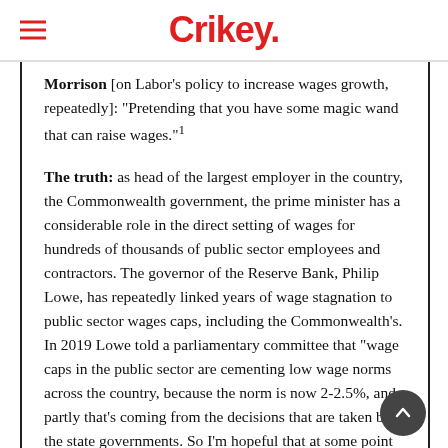Crikey.
Morrison [on Labor's policy to increase wages growth, repeatedly]: “Pretending that you have some magic wand that can raise wages.”¹
The truth: as head of the largest employer in the country, the Commonwealth government, the prime minister has a considerable role in the direct setting of wages for hundreds of thousands of public sector employees and contractors. The governor of the Reserve Bank, Philip Lowe, has repeatedly linked years of wage stagnation to public sector wages caps, including the Commonwealth’s. In 2019 Lowe told a parliamentary committee that “wage caps in the public sector are cementing low wage norms across the country, because the norm is now 2-2.5%, and partly that’s coming from the decisions that are taken by the state governments. So I’m hopeful that at some point the budget positions will improve sufficiently that state governments, or